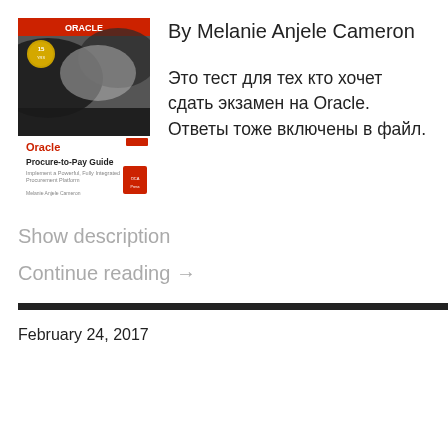[Figure (photo): Book cover of Oracle Procure-to-Pay Guide by Melanie Anjele Cameron. Cover has a dark/grey abstract image with Oracle logo and red banner, gold 15-year anniversary badge.]
By Melanie Anjele Cameron
Это тест для тех кто хочет сдать экзамен на Oracle. Ответы тоже включены в файл.
Show description
Continue reading →
February 24, 2017